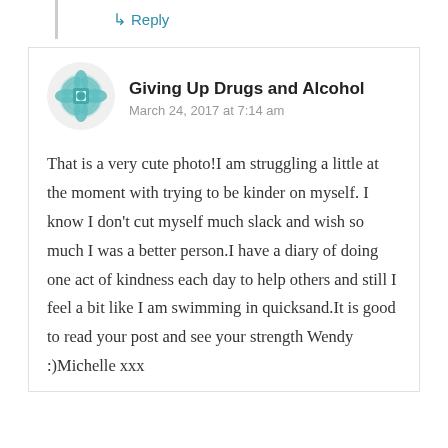↳ Reply
[Figure (logo): Teal geometric mandala/flower pattern avatar icon for Giving Up Drugs and Alcohol blog]
Giving Up Drugs and Alcohol
March 24, 2017 at 7:14 am
That is a very cute photo!I am struggling a little at the moment with trying to be kinder on myself. I know I don't cut myself much slack and wish so much I was a better person.I have a diary of doing one act of kindness each day to help others and still I feel a bit like I am swimming in quicksand.It is good to read your post and see your strength Wendy :)Michelle xxx